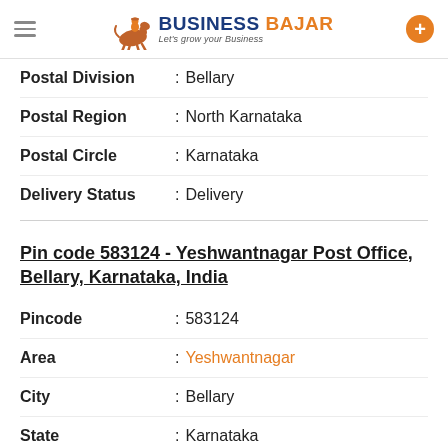Business Bajar - Let's grow your Business
Postal Division : Bellary
Postal Region : North Karnataka
Postal Circle : Karnataka
Delivery Status : Delivery
Pin code 583124 - Yeshwantnagar Post Office, Bellary, Karnataka, India
Pincode : 583124
Area : Yeshwantnagar
City : Bellary
State : Karnataka
Country : India
District : Bellary
Postal Taluka : Sandur